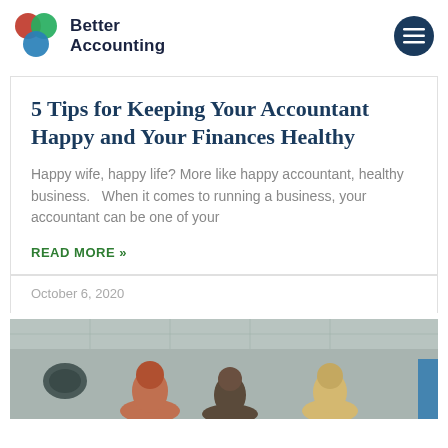Better Accounting
5 Tips for Keeping Your Accountant Happy and Your Finances Healthy
Happy wife, happy life? More like happy accountant, healthy business.   When it comes to running a business, your accountant can be one of your
READ MORE »
October 6, 2020
[Figure (photo): Photo of people in an office or meeting setting, viewed from below]